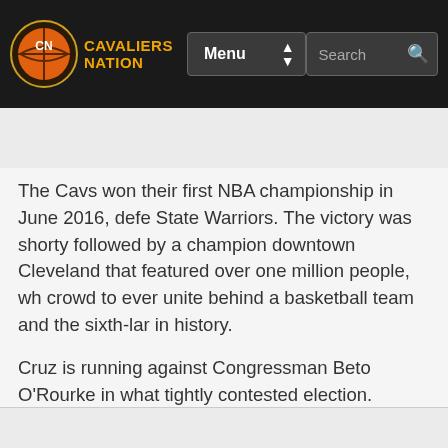[Figure (screenshot): Cavaliers Nation website navigation bar with logo, Menu dropdown, and Search box]
The Cavs won their first NBA championship in June 2016, defe State Warriors. The victory was shorty followed by a champion downtown Cleveland that featured over one million people, wh crowd to ever unite behind a basketball team and the sixth-lar in history.
Cruz is running against Congressman Beto O'Rourke in what tightly contested election. Nevertheless, it's quite amazing how same buildings go to every city, isn't it?